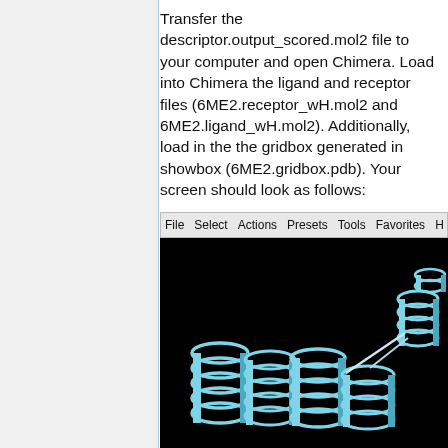Transfer the descriptor.output_scored.mol2 file to your computer and open Chimera. Load into Chimera the ligand and receptor files (6ME2.receptor_wH.mol2 and 6ME2.ligand_wH.mol2). Additionally, load in the the gridbox generated in showbox (6ME2.gridbox.pdb). Your screen should look as follows:
[Figure (screenshot): Screenshot of UCSF Chimera molecular visualization software showing a protein ribbon structure (alpha helices) rendered in cyan/teal color against a black background. The menu bar shows: File, Select, Actions, Presets, Tools, Favorites, H...]